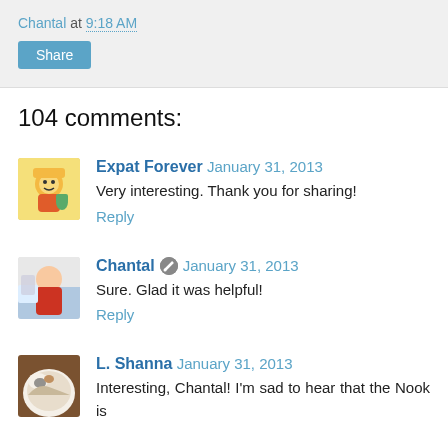Chantal at 9:18 AM
Share
104 comments:
Expat Forever  January 31, 2013
Very interesting. Thank you for sharing!
Reply
Chantal  January 31, 2013
Sure. Glad it was helpful!
Reply
L. Shanna  January 31, 2013
Interesting, Chantal! I'm sad to hear that the Nook is